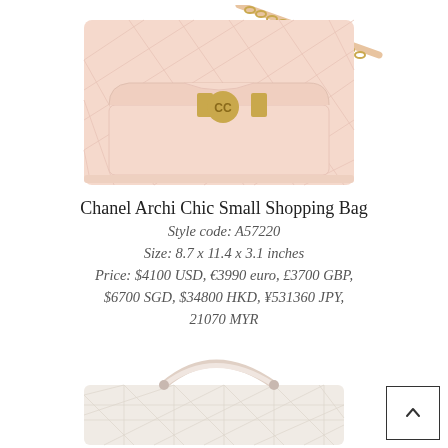[Figure (photo): Chanel Archi Chic Small Shopping Bag in blush pink quilted leather with gold chain strap and CC turn-lock closure, front view]
Chanel Archi Chic Small Shopping Bag
Style code: A57220
Size: 8.7 x 11.4 x 3.1 inches
Price: $4100 USD, €3990 euro, £3700 GBP, $6700 SGD, $34800 HKD, ¥531360 JPY, 21070 MYR
[Figure (photo): Chanel bag in light pink/off-white textured leather with top handle, bottom view]